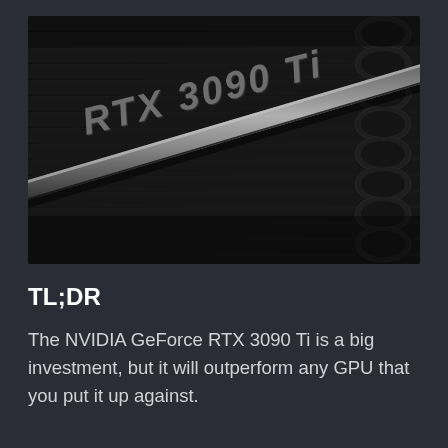[Figure (photo): Close-up photograph of an NVIDIA GeForce RTX 3090 Ti graphics card shroud, showing the diagonal bar with 'RTX 3090 Ti' branding text, metallic finish, and GPU fan/heatsink fins in dark/black tones.]
TL;DR
The NVIDIA GeForce RTX 3090 Ti is a big investment, but it will outperform any GPU that you put it up against.